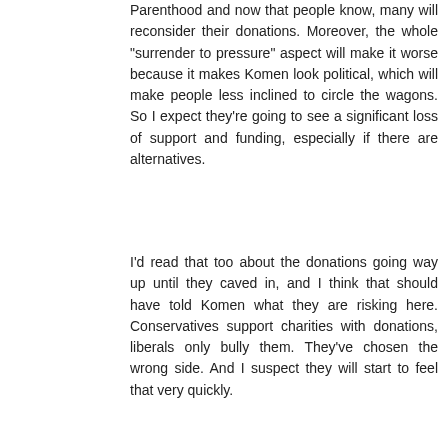Parenthood and now that people know, many will reconsider their donations. Moreover, the whole "surrender to pressure" aspect will make it worse because it makes Komen look political, which will make people less inclined to circle the wagons. So I expect they're going to see a significant loss of support and funding, especially if there are alternatives.
I'd read that too about the donations going way up until they caved in, and I think that should have told Komen what they are risking here. Conservatives support charities with donations, liberals only bully them. They've chosen the wrong side. And I suspect they will start to feel that very quickly.
I hadn't read that about a city, but if it's a public event then they could cancel it (or at least cancel their sponsorship). But they won't be able to stop it if it's private.
Reply
AndrewPrice  February 7, 2012 at 11:05 AM